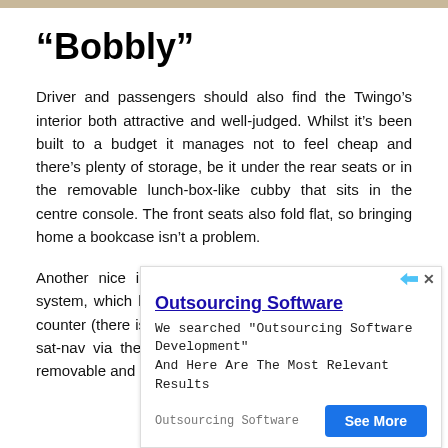“Bobbly”
Driver and passengers should also find the Twingo’s interior both attractive and well-judged. Whilst it’s been built to a budget it manages not to feel cheap and there’s plenty of storage, be it under the rear seats or in the removable lunch-box-like cubby that sits in the centre console. The front seats also fold flat, so bringing home a bookcase isn’t a problem.
Another nice innovation is the dash-mounted R&Go system, which holds a smartphone and displays a rev-counter (there isn’t one otherwise), a trip-computer, or a sat-nav via the all-important specific apps. It’s clever, removable and it also means
[Figure (other): Advertisement banner for Outsourcing Software. Title: Outsourcing Software. Description: We searched "Outsourcing Software Development" And Here Are The Most Relevant Results. Button: See More. Source label: Outsourcing Software.]